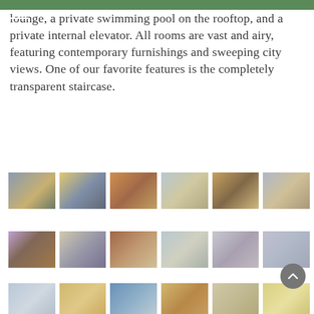lounge, a private swimming pool on the rooftop, and a private internal elevator. All rooms are vast and airy, featuring contemporary furnishings and sweeping city views. One of our favorite features is the completely transparent staircase.
[Figure (photo): Row of six hotel interior/exterior thumbnail photos - row 1]
[Figure (photo): Row of six hotel interior thumbnail photos - row 2]
[Figure (photo): Row of six hotel interior thumbnail photos - row 3 (partial)]